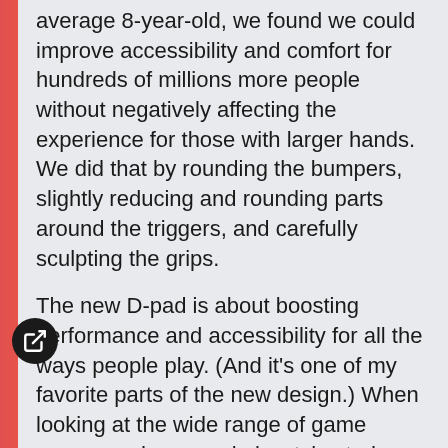accommodate hands similar to those of an average 8-year-old, we found we could improve accessibility and comfort for hundreds of millions more people without negatively affecting the experience for those with larger hands. We did that by rounding the bumpers, slightly reducing and rounding parts around the triggers, and carefully sculpting the grips.
The new D-pad is about boosting performance and accessibility for all the ways people play. (And it's one of my favorite parts of the new design.) When looking at the wide range of game genres and personal playstyles today, the D-pad is used in a lot of different ways. That's why our Elite controllers have swappable D-pads. For some games, having crisp cardinal directions (up, down, left, right) with well-defined edges is what gamers need, and the cross is great for that. Some gamers